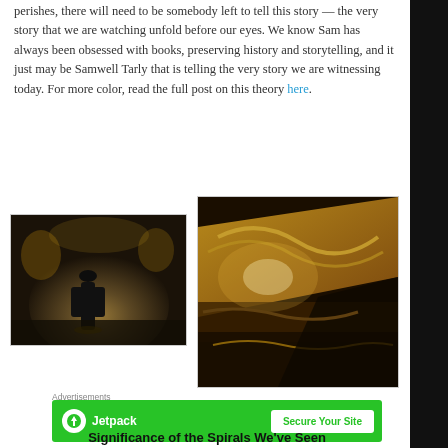perishes, there will need to be somebody left to tell this story — the very story that we are watching unfold before our eyes. We know Sam has always been obsessed with books, preserving history and storytelling, and it just may be Samwell Tarly that is telling the very story we are witnessing today. For more color, read the full post on this theory here.
[Figure (photo): Dark cinematic scene showing a figure in black robes from behind in a grand hall with golden ornate furnishings and lighting.]
[Figure (photo): Close-up cinematic shot of golden ornate metalwork and machinery with warm glowing light.]
Advertisements
[Figure (screenshot): Jetpack advertisement banner with green background showing Jetpack logo and 'Secure Your Site' call to action button.]
Significance of the Spirals We've Seen